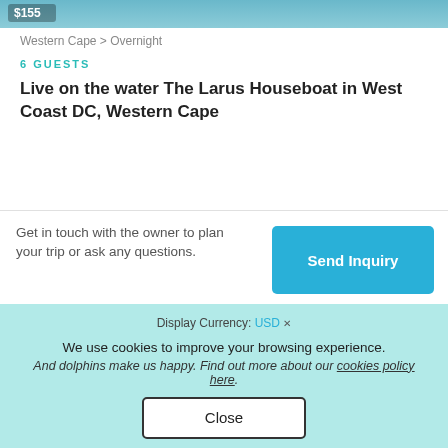[Figure (photo): Top image strip showing water/ocean background with a price badge showing $155]
Western Cape > Overnight
6 GUESTS
Live on the water The Larus Houseboat in West Coast DC, Western Cape
Get in touch with the owner to plan your trip or ask any questions.
Send Inquiry
Display Currency: USD
We use cookies to improve your browsing experience.
And dolphins make us happy. Find out more about our cookies policy here.
Close